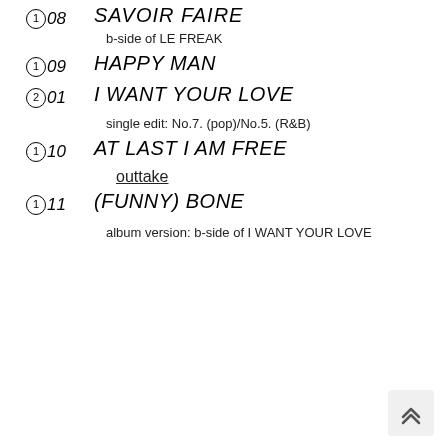①08 SAVOIR FAIRE (truncated at top)
b-side of LE FREAK
①09 HAPPY MAN
②01 I WANT YOUR LOVE
single edit: No.7. (pop)/No.5. (R&B)
①10 AT LAST I AM FREE
outtake
①11 (FUNNY) BONE
album version: b-side of I WANT YOUR LOVE